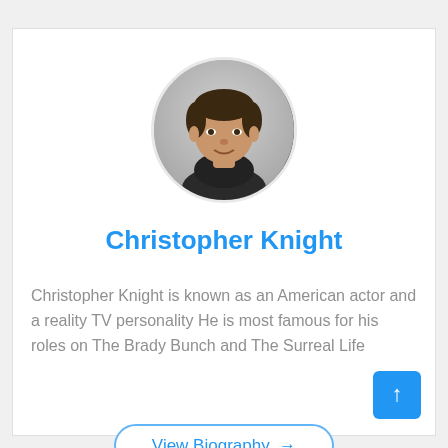[Figure (photo): Circular profile photo of Christopher Knight, a man with dark hair wearing a dark shirt, shown from shoulders up against a light background]
Christopher Knight
Christopher Knight is known as an American actor and a reality TV personality He is most famous for his roles on The Brady Bunch and The Surreal Life
View Biography →